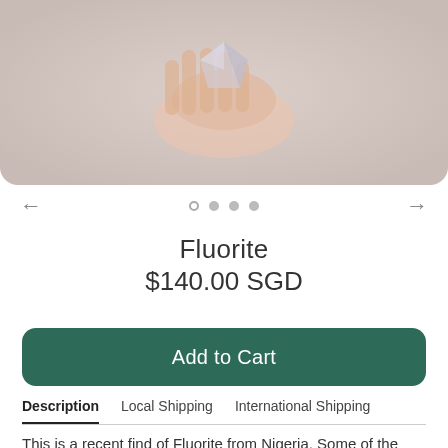[Figure (photo): Hand holding a fluorite crystal specimen, shown from above with natural pinkish/grey background]
Fluorite
$140.00 SGD
Add to Cart
Description   Local Shipping   International Shipping
This is a recent find of Fluorite from Nigeria. Some of the Fluorite in this collection change colour under artificial lighting and in natural light. Please check the videos to see if this piece has a colour-